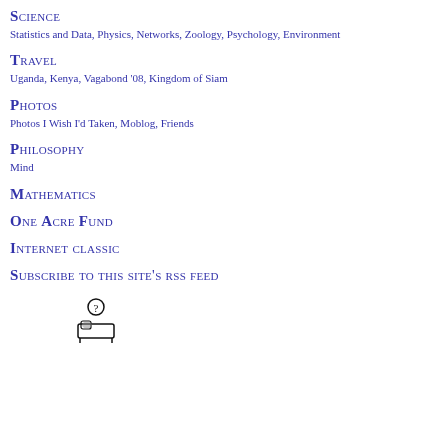Science
Statistics and Data,  Physics,  Networks,  Zoology,  Psychology,  Environment
Travel
Uganda,  Kenya,  Vagabond '08,  Kingdom of Siam
Photos
Photos I Wish I'd Taken,  Moblog,  Friends
Philosophy
Mind
Mathematics
One Acre Fund
Internet classic
Subscribe to this site's rss feed
[Figure (illustration): Small icon of a person lying in a bed with a question mark above them]